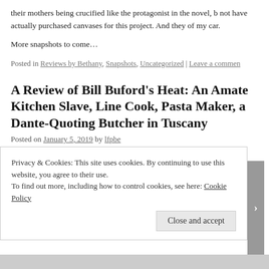their mothers being crucified like the protagonist in the novel, b not have actually purchased canvases for this project. And they of my car.
More snapshots to come…
Posted in Reviews by Bethany, Snapshots, Uncategorized | Leave a commen
A Review of Bill Buford's Heat: An Amate Kitchen Slave, Line Cook, Pasta Maker, a Dante-Quoting Butcher in Tuscany
Posted on January 5, 2019 by lfpbe
Privacy & Cookies: This site uses cookies. By continuing to use this website, you agree to their use.
To find out more, including how to control cookies, see here: Cookie Policy
Close and accept